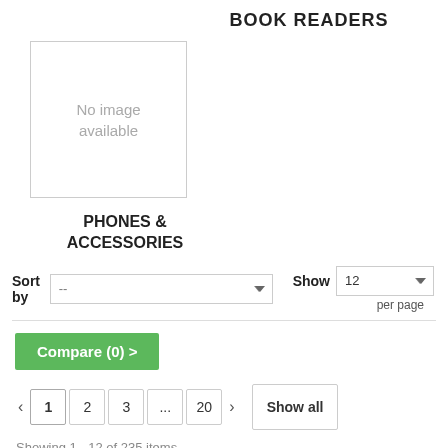BOOK READERS
[Figure (other): No image available placeholder box]
PHONES & ACCESSORIES
Sort by -- Show 12 per page
Compare (0) >
< 1 2 3 ... 20 > Show all
Showing 1 - 12 of 235 items